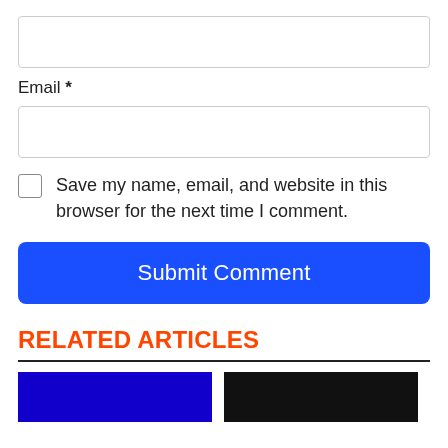Email *
Save my name, email, and website in this browser for the next time I comment.
Submit Comment
RELATED ARTICLES
[Figure (photo): Two related article thumbnail images: one with a blue background and one with a black background]